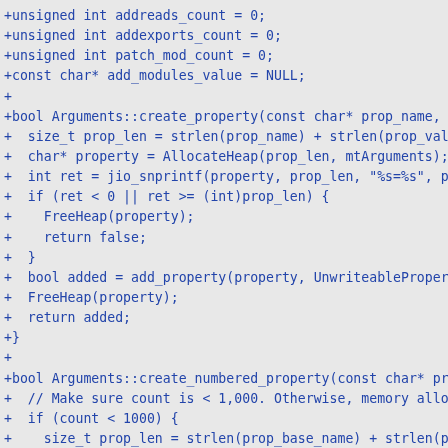[Figure (other): Code diff showing C++ source code additions. Lines prefixed with '+' showing unsigned int and const char* variable declarations, and two function definitions: Arguments::create_property and Arguments::create_numbered_property with heap allocation and string formatting logic.]